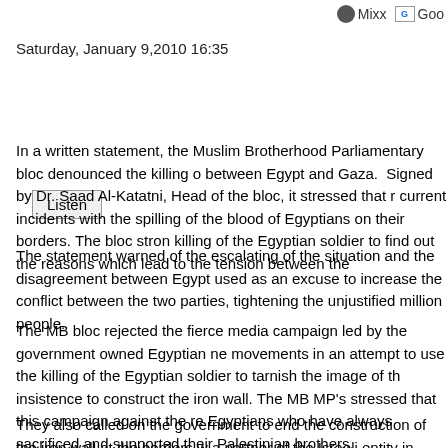Mixx  Goog
Saturday, January 9,2010 16:35
Listen
In a written statement, the Muslim Brotherhood Parliamentary bloc denounced the killing of between Egypt and Gaza.  Signed by Dr. Saad Al-Katatni, Head of the bloc, it stressed that current incidents with the spilling of the blood of Egyptians on their borders. The bloc stron killing of the Egyptian soldier to find out the reasons which lead to the tension between the
The statement warned of the escalating of the situation and the disagreement between Egypt used as an excuse to increase the conflict between the two parties, tightening the unjustified million people.
The MB bloc rejected the fierce media campaign led by the government owned Egyptian ne movements in an attempt to use the killing of the Egyptian soldier to tarnish the image of th insistence to construct the iron wall. The MB MP's stressed that this campaign against the re Egyptians who have always sacrificed and supported their Palestinian brothers.
They also called on the government to end the construction of the iron wall at the borders w a partner of the Israeli entity in besieging our brothers in Gaza, highlighting that the tunnels